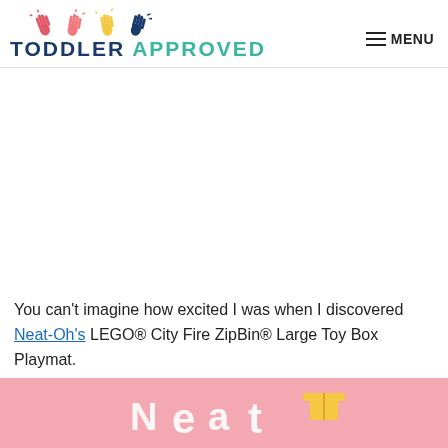TODDLER APPROVED
[Figure (other): Advertisement/blank white space area]
You can't imagine how excited I was when I discovered Neat-Oh's LEGO® City Fire ZipBin® Large Toy Box Playmat.
[Figure (photo): Pink background promotional image for Neat-Oh's product, partially visible at the bottom of the page]